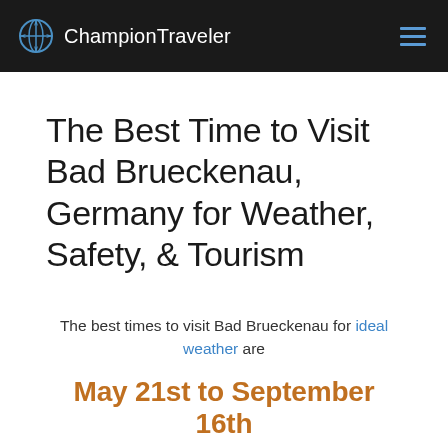ChampionTraveler
The Best Time to Visit Bad Brueckenau, Germany for Weather, Safety, & Tourism
The best times to visit Bad Brueckenau for ideal weather are
May 21st to September 16th
based on average temperature and humidity from NOAA (the National Oceanic and Atmospheric Administration).